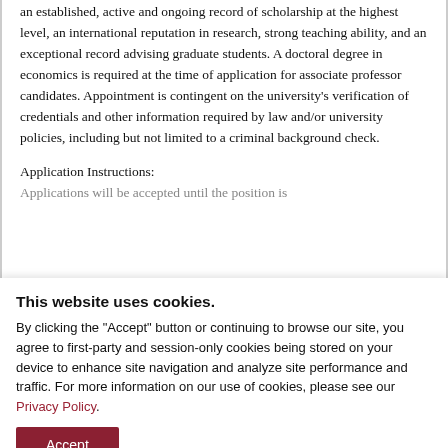an established, active and ongoing record of scholarship at the highest level, an international reputation in research, strong teaching ability, and an exceptional record advising graduate students. A doctoral degree in economics is required at the time of application for associate professor candidates. Appointment is contingent on the university's verification of credentials and other information required by law and/or university policies, including but not limited to a criminal background check.
Application Instructions:
Applications will be accepted until the position is
This website uses cookies.
By clicking the "Accept" button or continuing to browse our site, you agree to first-party and session-only cookies being stored on your device to enhance site navigation and analyze site performance and traffic. For more information on our use of cookies, please see our Privacy Policy.
Accept